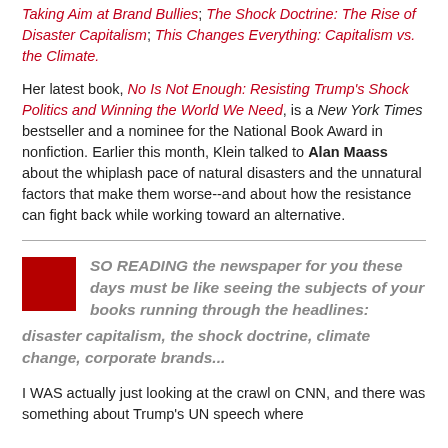Taking Aim at Brand Bullies; The Shock Doctrine: The Rise of Disaster Capitalism; This Changes Everything: Capitalism vs. the Climate.
Her latest book, No Is Not Enough: Resisting Trump's Shock Politics and Winning the World We Need, is a New York Times bestseller and a nominee for the National Book Award in nonfiction. Earlier this month, Klein talked to Alan Maass about the whiplash pace of natural disasters and the unnatural factors that make them worse--and about how the resistance can fight back while working toward an alternative.
SO READING the newspaper for you these days must be like seeing the subjects of your books running through the headlines: disaster capitalism, the shock doctrine, climate change, corporate brands...
I WAS actually just looking at the crawl on CNN, and there was something about Trump's UN speech where